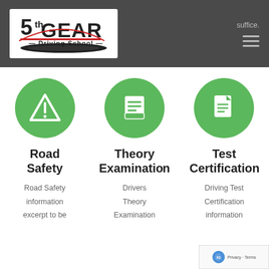suffice.
[Figure (logo): 5th Gear Driving School logo — white background with stylized text and road graphic]
[Figure (illustration): Green circle with white warning/triangle exclamation icon]
[Figure (illustration): Green circle with white book/list icon]
[Figure (illustration): Green circle with white document/certificate icon]
Road Safety
Theory Examination
Test Certification
Road Safety information excerpt to be
Drivers Theory Examination
Driving Test Certification information